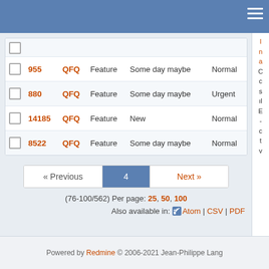|  | # | Project | Tracker | Status | Priority |
| --- | --- | --- | --- | --- | --- |
|  | 955 | QFQ | Feature | Some day maybe | Normal |
|  | 880 | QFQ | Feature | Some day maybe | Urgent |
|  | 14185 | QFQ | Feature | New | Normal |
|  | 8522 | QFQ | Feature | Some day maybe | Normal |
« Previous  4  Next »
(76-100/562) Per page: 25, 50, 100
Also available in: Atom | CSV | PDF
Powered by Redmine © 2006-2021 Jean-Philippe Lang